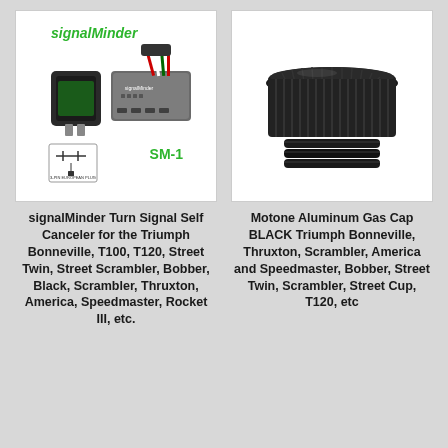[Figure (photo): signalMinder Turn Signal Self Canceler device (SM-1) with wiring harness and relay plug, showing the gray electronic module with SM-1 label in green text]
signalMinder Turn Signal Self Canceler for the Triumph Bonneville, T100, T120, Street Twin, Street Scrambler, Bobber, Black, Scrambler, Thruxton, America, Speedmaster, Rocket III, etc.
[Figure (photo): Motone Aluminum Gas Cap in black, shown as a round knurled cap with threaded base, for Triumph motorcycles]
Motone Aluminum Gas Cap BLACK Triumph Bonneville, Thruxton, Scrambler, America and Speedmaster, Bobber, Street Twin, Scrambler, Street Cup, T120, etc